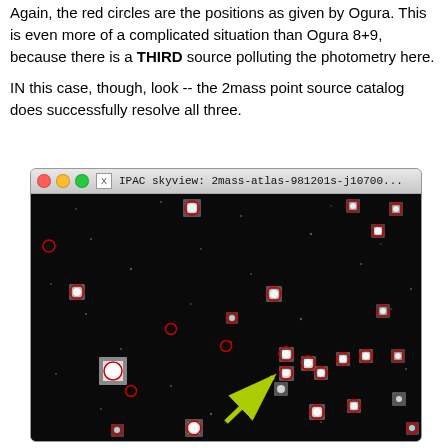Again, the red circles are the positions as given by Ogura. This is even more of a complicated situation than Ogura 8+9, because there is a THIRD source polluting the photometry here.
IN this case, though, look -- the 2mass point source catalog does successfully resolve all three.
[Figure (screenshot): IPAC skyview screenshot showing 2mass-atlas-981201s-j10700... astronomical image. Dark sky field with numerous stars shown as bright white/grey squares with red circle markers indicating Ogura source positions. A yellow-green arrow points to a cluster of three closely-spaced sources in the lower-center-right area of the image.]